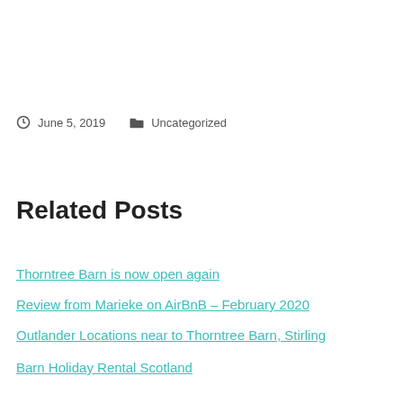June 5, 2019   Uncategorized
Related Posts
Thorntree Barn is now open again
Review from Marieke on AirBnB – February 2020
Outlander Locations near to Thorntree Barn, Stirling
Barn Holiday Rental Scotland